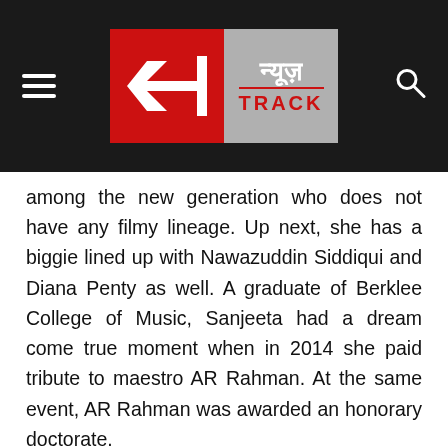न्यूज़ TRACK (News Track logo header)
among the new generation who does not have any filmy lineage. Up next, she has a biggie lined up with Nawazuddin Siddiqui and Diana Penty as well. A graduate of Berklee College of Music, Sanjeeta had a dream come true moment when in 2014 she paid tribute to maestro AR Rahman. At the same event, AR Rahman was awarded an honorary doctorate.
Today, Sanjeeta is a popular actor among the Gen Z and has made a stunning debut in the Netflix series last year with the show called 'Feels like Ishq'. In an anthology on love, directed by Danish Aslam, Sanjeeta played the main lead in the story called  'She loves me,